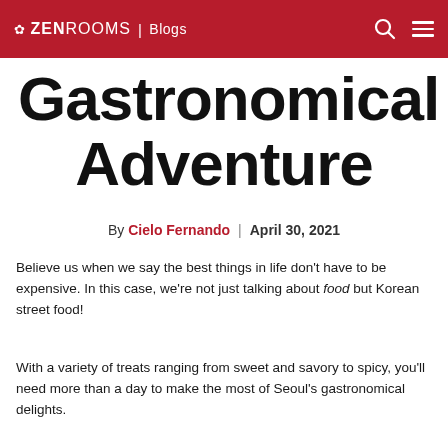ZEN ROOMS | Blogs
Gastronomical Adventure
By Cielo Fernando | April 30, 2021
Believe us when we say the best things in life don't have to be expensive. In this case, we're not just talking about food but Korean street food!
With a variety of treats ranging from sweet and savory to spicy, you'll need more than a day to make the most of Seoul's gastronomical delights.